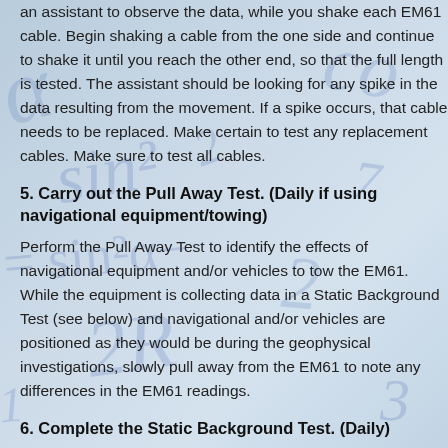an assistant to observe the data, while you shake each EM61 cable. Begin shaking a cable from the one side and continue to shake it until you reach the other end, so that the full length is tested. The assistant should be looking for any spike in the data resulting from the movement. If a spike occurs, that cable needs to be replaced. Make certain to test any replacement cables. Make sure to test all cables.
5. Carry out the Pull Away Test. (Daily if using navigational equipment/towing)
Perform the Pull Away Test to identify the effects of navigational equipment and/or vehicles to tow the EM61. While the equipment is collecting data in a Static Background Test (see below) and navigational and/or vehicles are positioned as they would be during the geophysical investigations, slowly pull away from the EM61 to note any differences in the EM61 readings.
6. Complete the Static Background Test. (Daily)
Do a Static Background Test to establish if the EM61 is taking